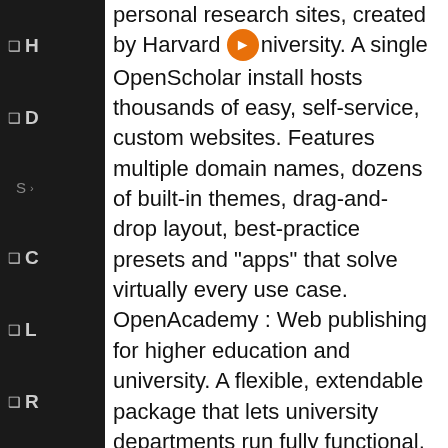personal research sites, created by Harvard University. A single OpenScholar install hosts thousands of easy, self-service, custom websites. Features multiple domain names, dozens of built-in themes, drag-and-drop layout, best-practice presets and "apps" that solve virtually every use case. OpenAcademy : Web publishing for higher education and university. A flexible, extendable package that lets university departments run fully functional, polished websites straight out of the box. Critical features are provided for handling courses, research publications and presentations, departmental news, faculty profiles, events and more. ELMS Learning Network : A modular approach of educational distributions with specific tasks linked around